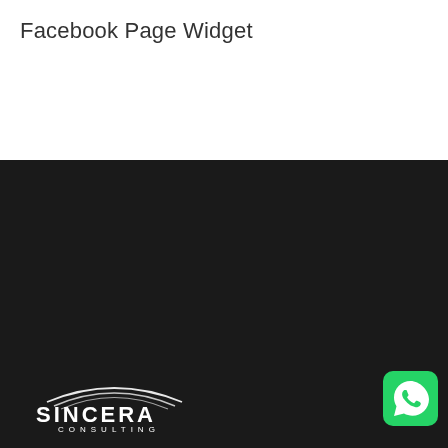Facebook Page Widget
[Figure (logo): Sincera Consulting logo — stylized arc lines above bold text SINCERA with CONSULTING beneath in spaced caps, white on dark background]
If you need to rapidly and efficiently ramp up your teams, modernize your workplace with enterprise software solutions or need management support, reach out to us today. We will be happy and honoured to help!
Recent Posts